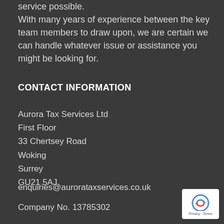service possible.
With many years of experience between the key team members to draw upon, we are certain we can handle whatever issue or assistance you might be looking for.
CONTACT INFORMATION
Aurora Tax Services Ltd
First Floor
33 Chertsey Road
Woking
Surrey
GU21 5AJ
enquiries@aurorataxservices.co.uk
Company No. 13785302
[Figure (logo): Google reCAPTCHA badge with Privacy and Terms links]